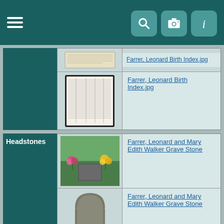[Figure (screenshot): Navigation bar with hamburger menu and icons for search, camera, and info]
[Figure (screenshot): Small thumbnail of a document/card]
Farrer, Leonard Birth Index.jpg
[Figure (photo): Thumbnail of Birth Index document page]
Farrer, Leonard Birth Index.jpg
Headstones
[Figure (photo): Photo of grave with flowers]
Farrer, Leonard and Mary Edith Walker Grave Stone
[Figure (photo): Illustration of a gravestone]
Farrer, Leonard and Mary Edith Walker Grave Stone
Family Crest
[Figure (illustration): Farrer Family Crest illustration]
Farrer Family Crest